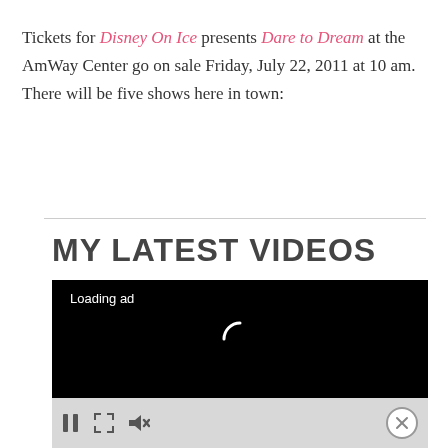Tickets for Disney On Ice presents Dare to Dream at the AmWay Center go on sale Friday, July 22, 2011 at 10 am. There will be five shows here in town:
MY LATEST VIDEOS
[Figure (screenshot): Video player showing black screen with 'Loading ad' text and a spinning loading indicator. Controls bar below with pause, expand, and mute buttons, and a close (X) button.]